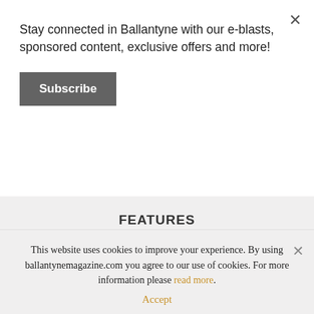Stay connected in Ballantyne with our e-blasts, sponsored content, exclusive offers and more!
Subscribe
FEATURES
FOOD
TRAVEL
STYLE
BUSINESS
PEOPLE
NEWS
EVENTS
This website uses cookies to improve your experience. By using ballantynemagazine.com you agree to our use of cookies. For more information please read more.
Accept